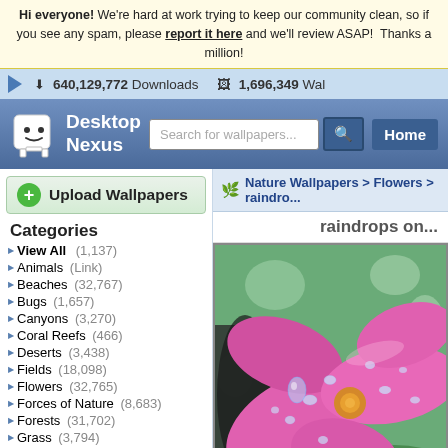Hi everyone! We're hard at work trying to keep our community clean, so if you see any spam, please report it here and we'll review ASAP! Thanks a million!
640,129,772 Downloads   1,696,349 Wallpapers
Desktop Nexus — Search for wallpapers... Home
Upload Wallpapers
Categories
View All (1,137)
Animals (Link)
Beaches (32,767)
Bugs (1,657)
Canyons (3,270)
Coral Reefs (466)
Deserts (3,438)
Fields (18,098)
Flowers (32,765)
Forces of Nature (8,683)
Forests (31,702)
Grass (3,794)
Greenroofs (318)
Lakes (32,767)
Mountains (32,767)
Nature Wallpapers > Flowers > raindrops on...
raindrops on...
[Figure (photo): Close-up photo of a pink flower with water droplets/raindrops on its petals, with green leaves in the background]